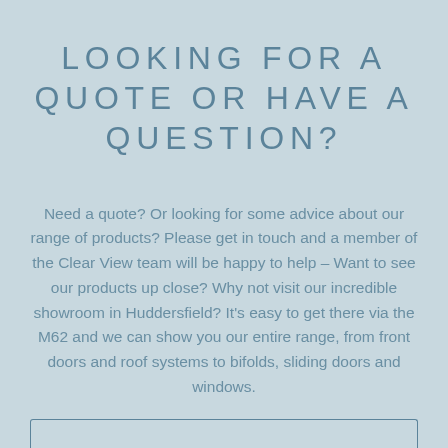LOOKING FOR A QUOTE OR HAVE A QUESTION?
Need a quote? Or looking for some advice about our range of products? Please get in touch and a member of the Clear View team will be happy to help – Want to see our products up close? Why not visit our incredible showroom in Huddersfield? It's easy to get there via the M62 and we can show you our entire range, from front doors and roof systems to bifolds, sliding doors and windows.